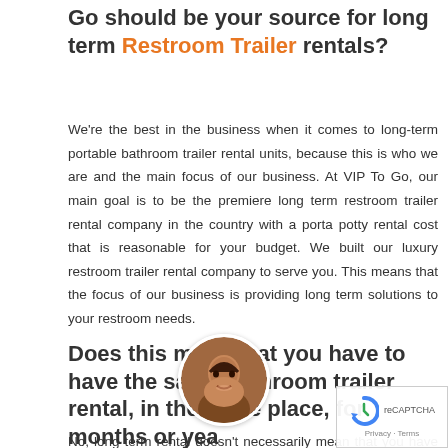Go should be your source for long term Restroom Trailer rentals?
We're the best in the business when it comes to long-term portable bathroom trailer rental units, because this is who we are and the main focus of our business. At VIP To Go, our main goal is to be the premiere long term restroom trailer rental company in the country with a porta potty rental cost that is reasonable for your budget. We built our luxury restroom trailer rental company to serve you. This means that the focus of our business is providing long term solutions to your restroom needs.
Does this mean that you have to have the same bathroom trailer rental, in the same place, for months or years?
No, long term rental doesn't necessarily mean that you have to